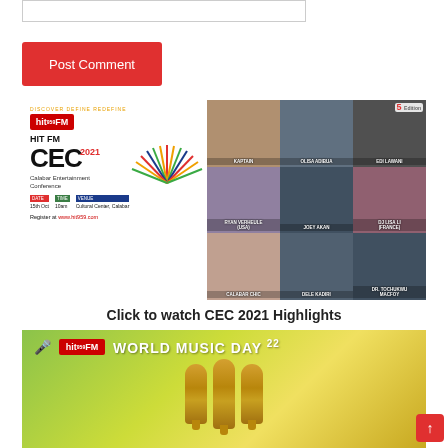[Figure (other): Empty text input/comment box]
Post Comment
[Figure (illustration): Hit FM CEC 2021 - Calabar Entertainment Conference event banner. Shows Hit FM logo, event title HIT FM CEC 2021, Calabar Entertainment Conference, Date: 15th Oct, Time: 10am, Venue: Cultural Center, Calabar. Register at www.hit959.com. Features speaker photos: Kaptain, Olisa Adibua, Edi Lawani, Ryan Verheule (USA), Joey Akan, DJ Lisa Li (France), Calabar Chic, Dele Kadiri, Dr. Tochukwu Macfoy. 5th Edition badge.]
Click to watch CEC 2021 Highlights
[Figure (illustration): Hit FM World Music Day '22 promotional banner with gold microphones on olive/yellow gradient background]